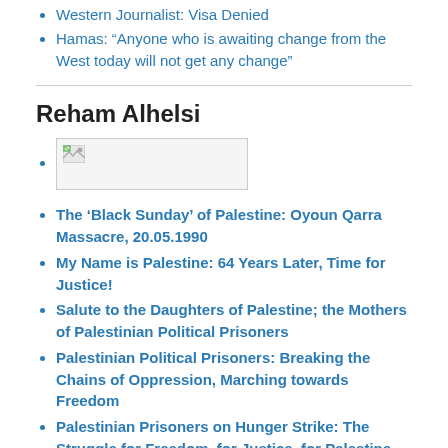Western Journalist: Visa Denied
Hamas: “Anyone who is awaiting change from the West today will not get any change”
Reham Alhelsi
[Figure (photo): Broken image placeholder for Reham Alhelsi author photo]
The ‘Black Sunday’ of Palestine: Oyoun Qarra Massacre, 20.05.1990
My Name is Palestine: 64 Years Later, Time for Justice!
Salute to the Daughters of Palestine; the Mothers of Palestinian Political Prisoners
Palestinian Political Prisoners: Breaking the Chains of Oppression, Marching towards Freedom
Palestinian Prisoners on Hunger Strike: The Struggle for Freedom, for Justice, for Palestine Continues